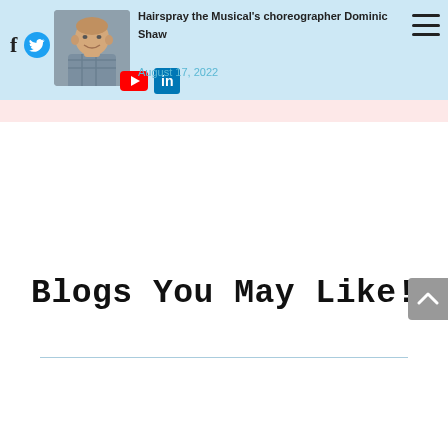Hairspray the Musical's choreographer Dominic Shaw — August 17, 2022
[Figure (photo): Thumbnail photo of a man smiling, wearing a plaid shirt]
Hairspray the Musical's choreographer Dominic Shaw
August 17, 2022
Blogs You May Like!